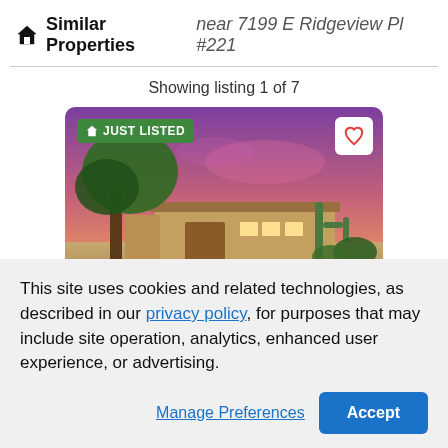Similar Properties near 7199 E Ridgeview Pl #221
Showing listing 1 of 7
[Figure (photo): Exterior photo of a single-story desert home with large tree, desert landscaping, and a vivid purple-pink sunset sky. A 'JUST LISTED' green badge is in the top-left and a heart/favorite icon in the top-right.]
This site uses cookies and related technologies, as described in our privacy policy, for purposes that may include site operation, analytics, enhanced user experience, or advertising.
Manage Preferences
Accept